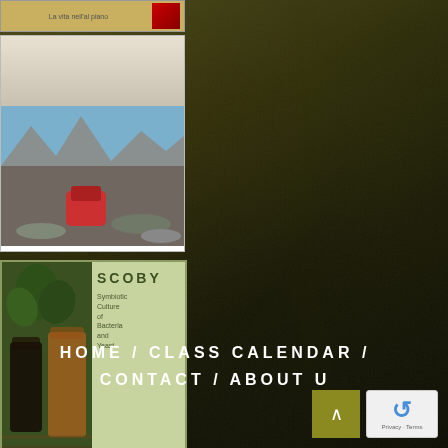[Figure (screenshot): Dark mossy/textured green-brown background resembling outdoor terrain or moss-covered rock]
[Figure (photo): Small card showing a book cover snippet with golden/tan background and red element]
[Figure (photo): Card with white top section and mountain/outdoor hiking scene below with a red backpack and play button overlay]
[Figure (photo): SCOBY book cover card with green background, jar images on left and text on right reading SCOBY with subtitle about Symbiotic Culture of Bacteria and Yeast]
HOME / CLASS CALENDAR / CONTACT / ABOUT U
[Figure (other): Olive/dark yellow scroll-to-top button with upward arrow]
[Figure (other): reCAPTCHA widget showing circular arrow logo with Privacy - Terms text]